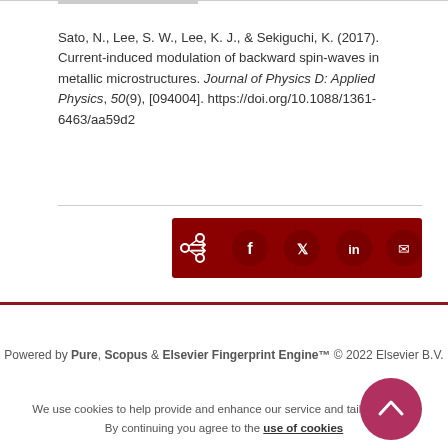Sato, N., Lee, S. W., Lee, K. J., & Sekiguchi, K. (2017). Current-induced modulation of backward spin-waves in metallic microstructures. Journal of Physics D: Applied Physics, 50(9), [094004]. https://doi.org/10.1088/1361-6463/aa59d2
[Figure (other): Social sharing bar with icons for share, Facebook, Twitter, LinkedIn, and email on a dark red background]
Powered by Pure, Scopus & Elsevier Fingerprint Engine™ © 2022 Elsevier B.V.
We use cookies to help provide and enhance our service and tailor content. By continuing you agree to the use of cookies
Log in to Pure
About web accessibility